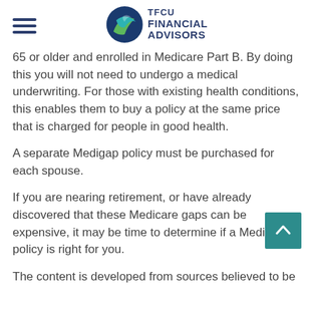TFCU FINANCIAL ADVISORS
65 or older and enrolled in Medicare Part B. By doing this you will not need to undergo a medical underwriting. For those with existing health conditions, this enables them to buy a policy at the same price that is charged for people in good health.
A separate Medigap policy must be purchased for each spouse.
If you are nearing retirement, or have already discovered that these Medicare gaps can be expensive, it may be time to determine if a Medigap policy is right for you.
The content is developed from sources believed to be